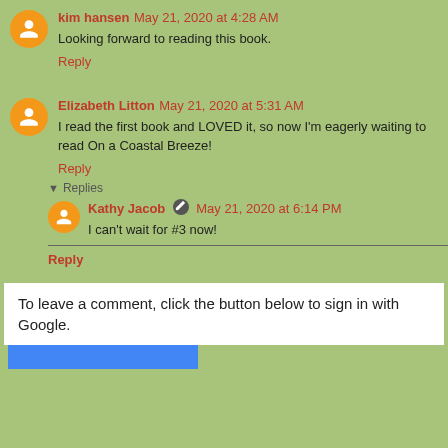kim hansen May 21, 2020 at 4:28 AM
Looking forward to reading this book.
Reply
Elizabeth Litton May 21, 2020 at 5:31 AM
I read the first book and LOVED it, so now I'm eagerly waiting to read On a Coastal Breeze!
Reply
Replies
Kathy Jacob May 21, 2020 at 6:14 PM
I can't wait for #3 now!
Reply
To leave a comment, click the button below to sign in with Google.